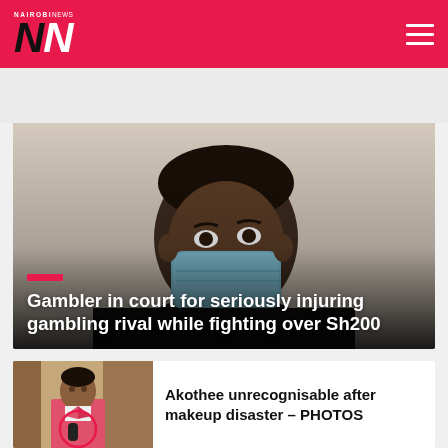NAIROBI NEWS
[Figure (photo): Young Black man wearing a blue surgical mask, looking sideways against a light beige background. Photo overlaid with article headline.]
Gambler in court for seriously injuring gambling rival while fighting over Sh200
[Figure (photo): Woman in pink blazer standing indoors, partially cropped.]
Akothee unrecognisable after makeup disaster – PHOTOS